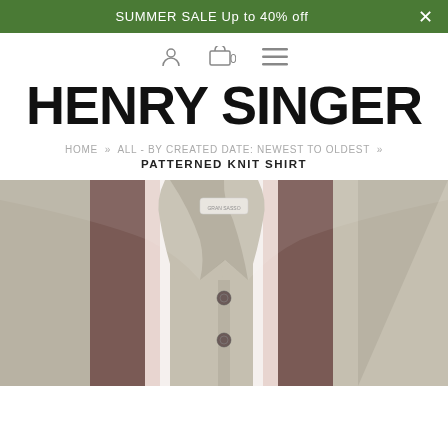SUMMER SALE Up to 40% off
[Figure (screenshot): Navigation icons: user account icon, shopping cart with 0, hamburger menu]
HENRY SINGER
HOME » ALL - BY CREATED DATE: NEWEST TO OLDEST »
PATTERNED KNIT SHIRT
[Figure (photo): Close-up photo of a patterned knit polo shirt with brown, pink/white stripes on a khaki/taupe base, with a collar and two visible buttons. Label tag visible at collar.]